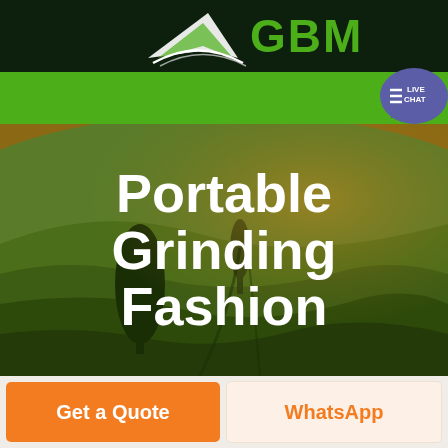[Figure (logo): GBM company logo with white arrow/blade graphic on dark green background and green GBM text]
[Figure (screenshot): Green navigation bar with hamburger menu icon on right side, and a live chat bubble in blue/purple on top right]
[Figure (photo): Aerial view of agricultural rolling green and golden fields with trees, serving as hero background image]
Portable Grinding Fashion
[Figure (other): Get a Quote orange button and WhatsApp button side by side at bottom of page]